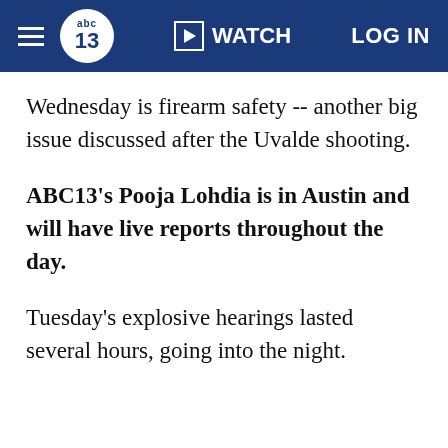ABC13 | WATCH | LOG IN
Wednesday is firearm safety -- another big issue discussed after the Uvalde shooting.
ABC13's Pooja Lohdia is in Austin and will have live reports throughout the day.
Tuesday's explosive hearings lasted several hours, going into the night.